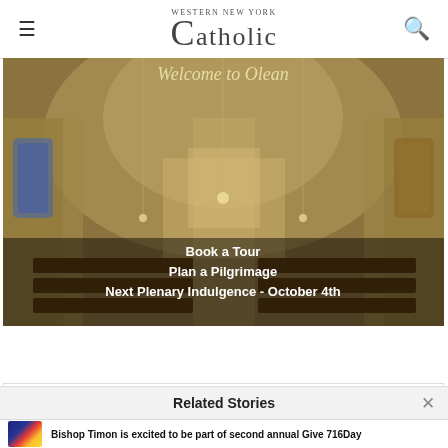Western New York Catholic
[Figure (photo): Interior of Basilica of St. Mary of the Angels cathedral with ornate arched ceilings, stained glass windows, and chandelier lighting. Overlaid text reads: Welcome to Olean / Book a Tour / Plan a Pilgrimage / Next Plenary Indulgence - October 4th]
[Figure (logo): Basilica of St. Mary of the Angels logo with crest and text: Basilica of St. Mary of the Angels / Smaolean.org]
Related Stories
Bishop Timon is excited to be part of second annual Give 716Day